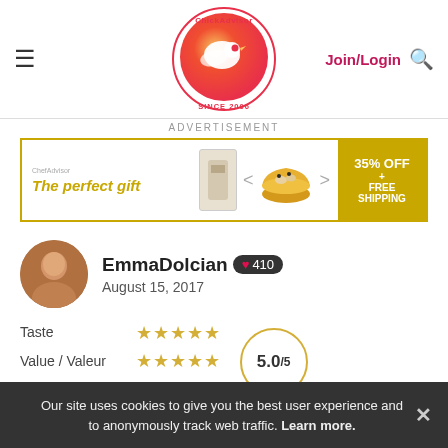[Figure (logo): ChickAdvisor logo – circular gradient bird logo with 'SINCE 2006' text]
Join/Login
ADVERTISEMENT
[Figure (infographic): Advertisement banner for The perfect gift – shows product images, navigation arrows, 35% OFF + FREE SHIPPING]
EmmaDolcian ❤ 410
August 15, 2017
| Category | Rating |
| --- | --- |
| Taste | ★★★★★ |
| Value / Valeur | ★★★★★ |
| Quality / Qualité | ★★★★★ |
5.0/5
Recommended? You Betcha!
Our site uses cookies to give you the best user experience and to anonymously track web traffic. Learn more.